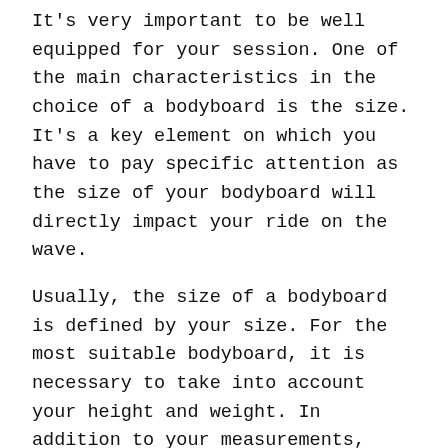It's very important to be well equipped for your session. One of the main characteristics in the choice of a bodyboard is the size. It's a key element on which you have to pay specific attention as the size of your bodyboard will directly impact your ride on the wave.
Usually, the size of a bodyboard is defined by your size. For the most suitable bodyboard, it is necessary to take into account your height and weight. In addition to your measurements, your level in bodyboarding must also be included in your choice. Indeed, eveything depends on the use of the board.
For an expert rider who knows how to anticipate wave movement, choose a smaller board that fits perfectly with its bodyboarding style. In search of performance and speed, this type of board will anwser your need for